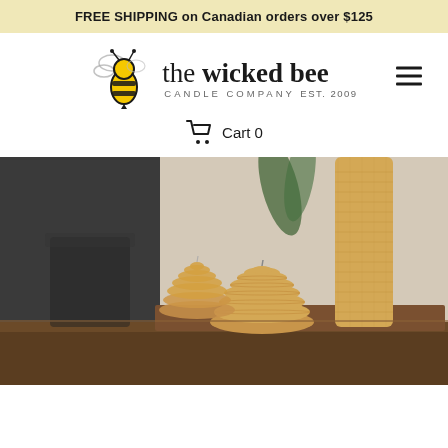FREE SHIPPING on Canadian orders over $125
[Figure (logo): The Wicked Bee Candle Company logo with bee illustration, EST. 2009]
Cart 0
[Figure (photo): Beeswax candles in honeycomb shape and beehive skep shape on a wooden surface with a tall rolled beeswax candle in the background]